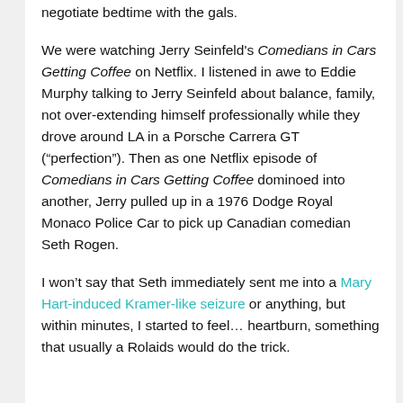negotiate bedtime with the gals.
We were watching Jerry Seinfeld's Comedians in Cars Getting Coffee on Netflix. I listened in awe to Eddie Murphy talking to Jerry Seinfeld about balance, family, not over-extending himself professionally while they drove around LA in a Porsche Carrera GT (“perfection”). Then as one Netflix episode of Comedians in Cars Getting Coffee dominoed into another, Jerry pulled up in a 1976 Dodge Royal Monaco Police Car to pick up Canadian comedian Seth Rogen.
I won’t say that Seth immediately sent me into a Mary Hart-induced Kramer-like seizure or anything, but within minutes, I started to feel… heartburn, something that usually a Rolaids would do the trick.